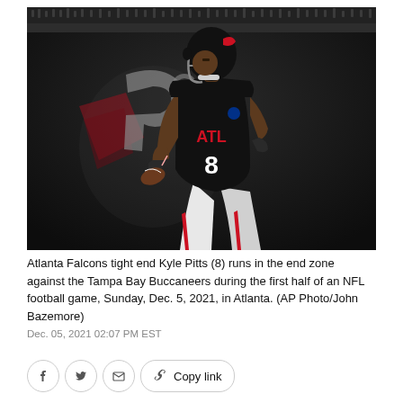[Figure (photo): Atlanta Falcons tight end Kyle Pitts (8) in black ATL jersey and white pants, holding a football in the end zone, with the Falcons logo visible in the background.]
Atlanta Falcons tight end Kyle Pitts (8) runs in the end zone against the Tampa Bay Buccaneers during the first half of an NFL football game, Sunday, Dec. 5, 2021, in Atlanta. (AP Photo/John Bazemore)
Dec. 05, 2021 02:07 PM EST